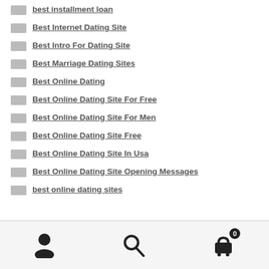best installment loan
Best Internet Dating Site
Best Intro For Dating Site
Best Marriage Dating Sites
Best Online Dating
Best Online Dating Site For Free
Best Online Dating Site For Men
Best Online Dating Site Free
Best Online Dating Site In Usa
Best Online Dating Site Opening Messages
best online dating sites
user icon | search icon | cart icon with badge 0